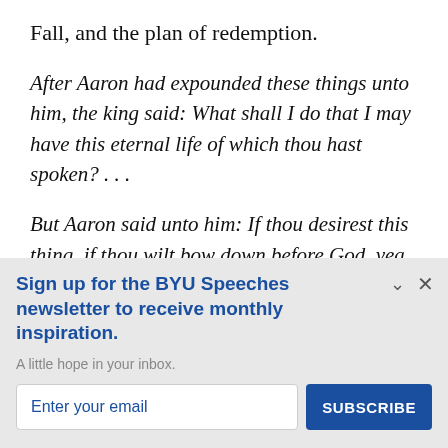Fall, and the plan of redemption.
After Aaron had expounded these things unto him, the king said: What shall I do that I may have this eternal life of which thou hast spoken? . . .
But Aaron said unto him: If thou desirest this thing, if thou wilt bow down before God, yea, if thou wilt
Sign up for the BYU Speeches newsletter to receive monthly inspiration.
A little hope in your inbox.
Enter your email
SUBSCRIBE